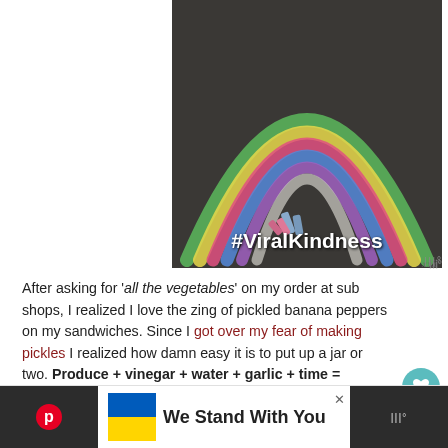[Figure (photo): Chalk rainbow drawn on dark asphalt/pavement with chalk sticks visible at the base, and white text '#ViralKindness' overlaid at the bottom of the image.]
After asking for 'all the vegetables' on my order at sub shops, I realized I love the zing of pickled banana peppers on my sandwiches. Since I got over my fear of making pickles I realized how damn easy it is to put up a jar or two. Produce + vinegar + water + garlic + time = pickles. I figured I could grow a few banana pepper plants and put up my own pickles.
[Figure (photo): Partial view of a food photo at the bottom of the page, partially obscured by an advertisement banner.]
We Stand With You